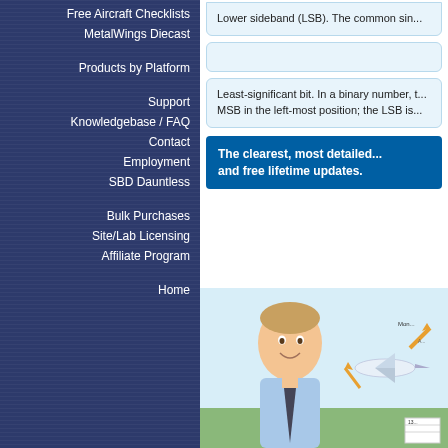Free Aircraft Checklists
MetalWings Diecast
Products by Platform
Support
Knowledgebase / FAQ
Contact
Employment
SBD Dauntless
Bulk Purchases
Site/Lab Licensing
Affiliate Program
Home
Lower sideband (LSB). The common sin...
Least-significant bit. In a binary number, t... MSB in the left-most position; the LSB is...
The clearest, most detailed... and free lifetime updates.
[Figure (photo): Young man in business attire smiling, with an aviation/economics infographic diagram in background showing aircraft and arrows]